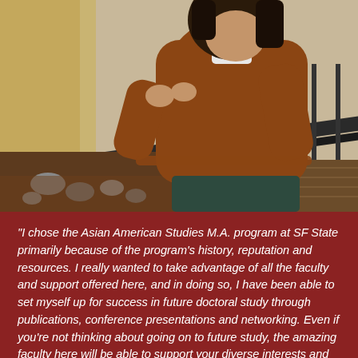[Figure (photo): A person wearing a brown jacket leaning on a railing outdoors, with rocks and mulch visible in the background.]
"I chose the Asian American Studies M.A. program at SF State primarily because of the program's history, reputation and resources. I really wanted to take advantage of all the faculty and support offered here, and in doing so, I have been able to set myself up for success in future doctoral study through publications, conference presentations and networking. Even if you're not thinking about going on to future study, the amazing faculty here will be able to support your diverse interests and projects, which is what makes this program so supportive and unique! Plus, the friends that I've